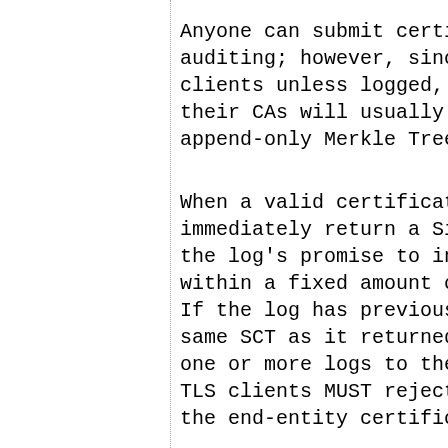Anyone can submit certificates for auditing; however, since connections to clients unless logged, it is expected their CAs will usually submit. The append-only Merkle Tree of
When a valid certificate is submitted, immediately return a Signed Certificate the log's promise to incorporate it within a fixed amount of time (MMD). If the log has previously seen it, the same SCT as it returned before. Servers one or more logs to the TLS client. TLS clients MUST reject certificates if the end-entity certificate
Periodically, each log appends entries and signs the root of the tree. For a certificate for which an SCT has been log. The log MUST incorporate